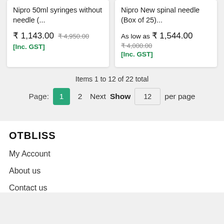Nipro 50ml syringes without needle (...
₹ 1,143.00  ₹ 4,950.00  [Inc. GST]
Nipro New spinal needle (Box of 25)...
As low as ₹ 1,544.00  ₹ 4,000.00  [Inc. GST]
Items 1 to 12 of 22 total
Page: 1  2  Next  Show  12  per page
OTBLISS
My Account
About us
Contact us